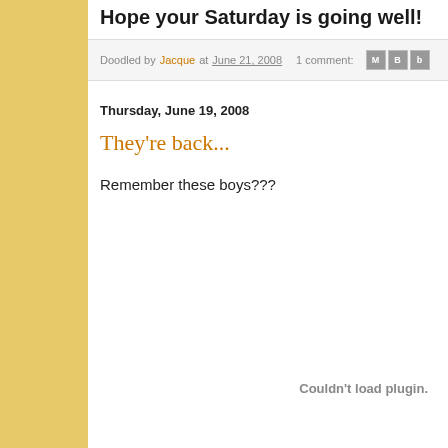Hope your Saturday is going well!
Doodled by Jacque at June 21, 2008   1 comment:
Thursday, June 19, 2008
They're back...
Remember these boys???
Couldn't load plugin.